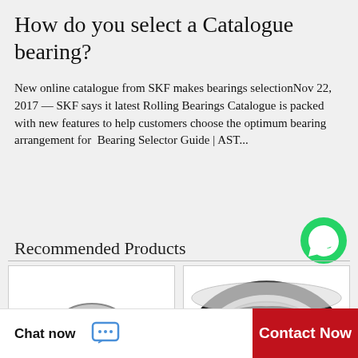How do you select a Catalogue bearing?
New online catalogue from SKF makes bearings selectionNov 22, 2017 — SKF says it latest Rolling Bearings Catalogue is packed with new features to help customers choose the optimum bearing arrangement for  Bearing Selector Guide | AST...
Recommended Products
[Figure (photo): WhatsApp Online green logo icon with text 'WhatsApp Online']
[Figure (photo): Photo of a small cylindrical wheel bearing (hub bearing), silver metallic finish, viewed from front-top angle]
[Figure (photo): Photo of a larger deep groove ball bearing with black rubber seals on both sides, viewed from front angle]
Chat now
Contact Now